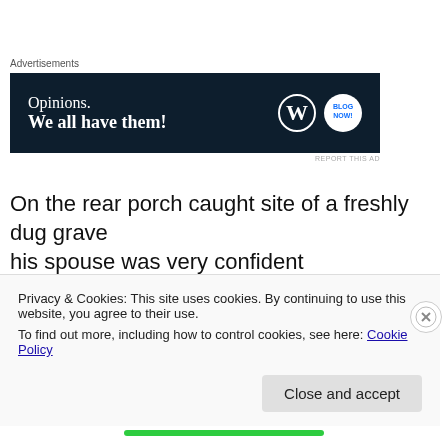[Figure (other): Advertisement banner: dark navy background with text 'Opinions. We all have them!' and WordPress and brand logos on the right]
On the rear porch caught site of a freshly dug grave
his spouse was very confident
her task was nearly complete and the plot visible
it would not be him buried there
Privacy & Cookies: This site uses cookies. By continuing to use this website, you agree to their use.
To find out more, including how to control cookies, see here: Cookie Policy